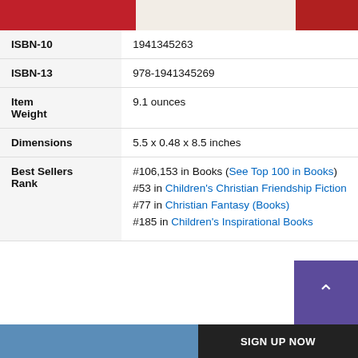[Figure (photo): Top strip showing partial book cover images including red fabric and children's cartoon characters]
| ISBN-10 | 1941345263 |
| ISBN-13 | 978-1941345269 |
| Item Weight | 9.1 ounces |
| Dimensions | 5.5 x 0.48 x 8.5 inches |
| Best Sellers Rank | #106,153 in Books (See Top 100 in Books)
#53 in Children's Christian Friendship Fiction
#77 in Christian Fantasy (Books)
#185 in Children's Inspirational Books |
[Figure (photo): Bottom strip showing partial book cover with blue background]
SIGN UP NOW